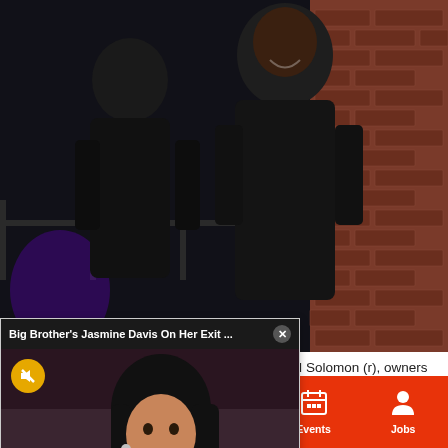[Figure (photo): Two men in dark clothing posing in front of a brick wall background, one wearing a black blazer and the other in a dark outfit, both smiling]
Married couple Charles Hughes (l) and Richard Solomon (r), owners of Club Lambda in Brooklyn and Lambda Lounge in
[Figure (screenshot): Video popup overlay showing 'Big Brother's Jasmine Davis On Her Exit ...' with a mute button icon and subtitle text reading 'You made a few faces during Brittany's goodbye video message to you. What was your take on her in the game and in the house?' and Entertainment watermark]
newsletter to get insights and game coverage for your favorite teams
Sections | Contact | Home Pros | Events | Jobs